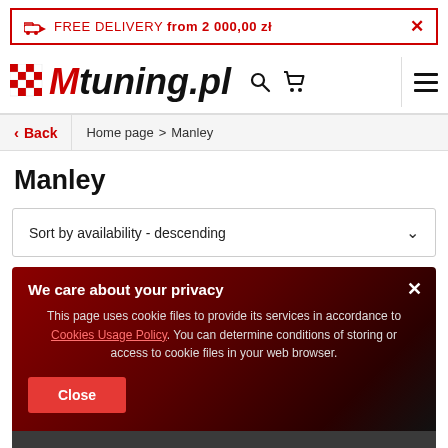FREE DELIVERY from 2 000,00 zł
[Figure (logo): Mtuning.pl logo with red checkered flag pattern and search, cart, menu icons]
Back  Home page > Manley
Manley
Sort by availability - descending
We care about your privacy
This page uses cookie files to provide its services in accordance to Cookies Usage Policy. You can determine conditions of storing or access to cookie files in your web browser.
Close